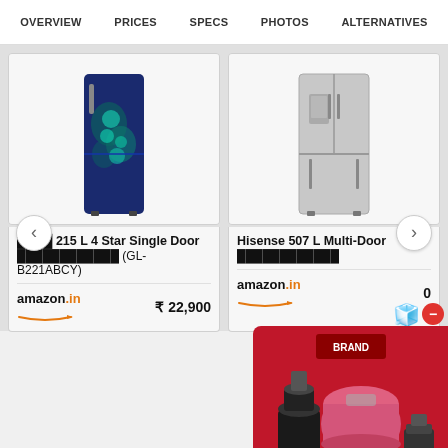OVERVIEW   PRICES   SPECS   PHOTOS   ALTERNATIVES
[Figure (screenshot): LG 215 L 4 Star Single Door refrigerator product card with blue floral design, showing product image, name, amazon.in retailer logo and price ₹22,900]
[Figure (screenshot): Hisense 507 L Multi-Door refrigerator product card in silver/stainless color, showing product image, amazon.in retailer logo and partial price]
एलजी 215 L 4 Star Single Door रेफ्रिजरेटर (GL-B221ABCY)
amazon.in   ₹ 22,900
Hisense 507 L Multi-Door रेफ्रिजरेटर
amazon.in
[Figure (photo): Advertisement popup showing a red box with kitchen appliances - mixer grinder, rice cooker, and other appliances with a red minus/close button]
Advertisements
[Figure (screenshot): Acronis advertisement banner with blue gradient background showing the Acronis logo text in dark blue]